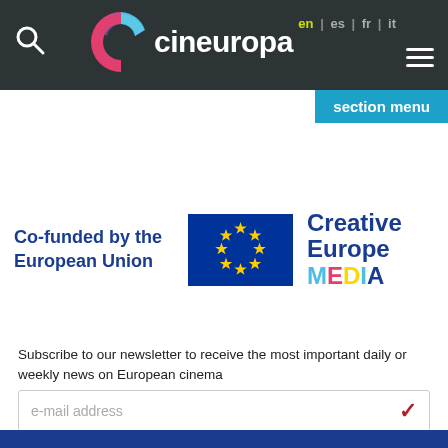cineuropa — en | es | fr | it
[Figure (logo): Cineuropa logo with colorful C icon and site name in white on dark background]
[Figure (logo): Co-funded by the European Union — EU flag — Creative Europe MEDIA logo]
Subscribe to our newsletter to receive the most important daily or weekly news on European cinema
e-mail address